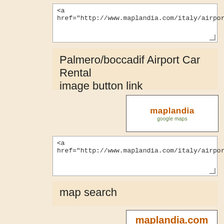<a href="http://www.maplandia.com/italy/airports/palmero-
Palmero/boccadif Airport Car Rental image button link
[Figure (logo): maplandia google maps logo in orange and green text inside a bordered box]
<a href="http://www.maplandia.com/italy/airports/palmero-
map search
[Figure (screenshot): maplandia.com search widget with orange brand text, text input field, and find map button]
<!-- maplandia.com search-box 1.0 beginning -->
<div style="margin:0px;text-align:center;border:1px solid #111;width:135px;padding:8px 4px;background: #FFF;">
<form action="http://www.maplandia.com/search/" target="_top"
style="padding:0;margin:0;" method="post"><a